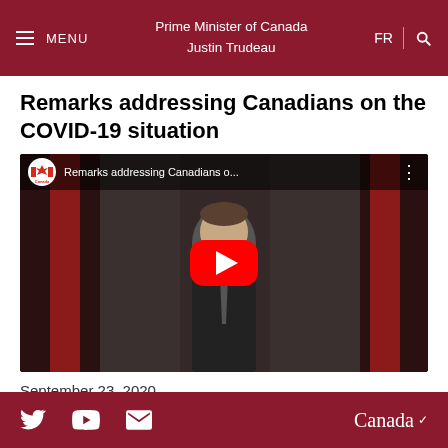Prime Minister of Canada Justin Trudeau
Remarks addressing Canadians on the COVID-19 situation
[Figure (screenshot): YouTube video thumbnail showing Prime Minister Justin Trudeau standing in front of Canadian flags, with a red YouTube play button overlay. Top bar shows Canada logo and title 'Remarks addressing Canadians o...']
September 23, 2020
Twitter | YouTube | Email | Canada wordmark